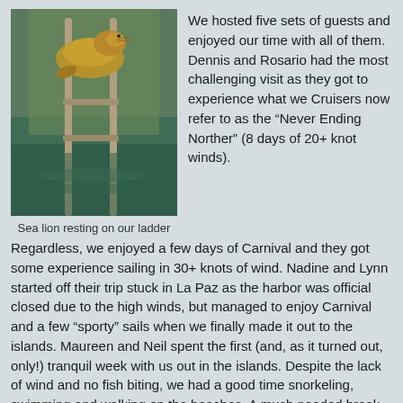[Figure (photo): Close-up photo of a sea lion resting on a boat ladder, with greenish water visible in the background. The animal appears brownish-gold in color.]
Sea lion resting on our ladder
We hosted five sets of guests and enjoyed our time with all of them.  Dennis and Rosario had the most challenging visit as they got to experience what we Cruisers now refer to as the “Never Ending Norther” (8 days of 20+ knot winds).  Regardless, we enjoyed a few days of Carnival and they got some experience sailing in 30+ knots of wind.  Nadine and Lynn started off their trip stuck in La Paz as the harbor was official closed due to the high winds, but managed to enjoy Carnival and a few “sporty” sails when we finally made it out to the islands.  Maureen and Neil spent the first (and, as it turned out, only!) tranquil week with us out in the islands.  Despite the lack of wind and no fish biting, we had a good time snorkeling, swimming and walking on the beaches.  A much needed break from the elements for us!  My parents experienced a bit of everything – wind, calms, quiet villages,